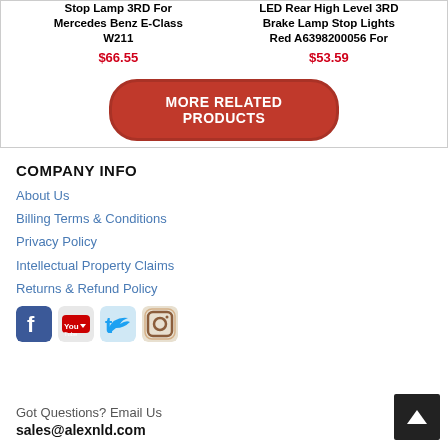Stop Lamp 3RD For Mercedes Benz E-Class W211
$66.55
LED Rear High Level 3RD Brake Lamp Stop Lights Red A6398200056 For
$53.59
MORE RELATED PRODUCTS
COMPANY INFO
About Us
Billing Terms & Conditions
Privacy Policy
Intellectual Property Claims
Returns & Refund Policy
[Figure (logo): Social media icons: Facebook, YouTube, Twitter, Instagram]
Got Questions? Email Us
sales@alexnld.com